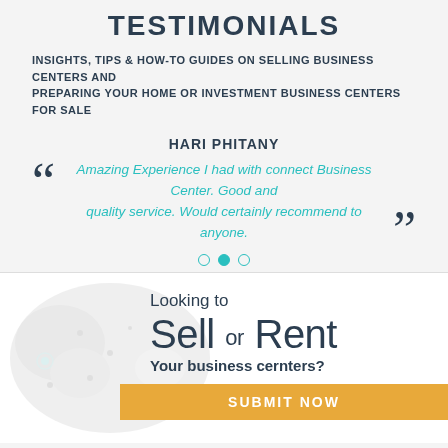TESTIMONIALS
INSIGHTS, TIPS & HOW-TO GUIDES ON SELLING BUSINESS CENTERS AND PREPARING YOUR HOME OR INVESTMENT BUSINESS CENTERS FOR SALE
HARI PHITANY
Amazing Experience I had with connect Business Center. Good and quality service. Would certainly recommend to anyone.
Looking to Sell or Rent Your business cernters?
SUBMIT NOW